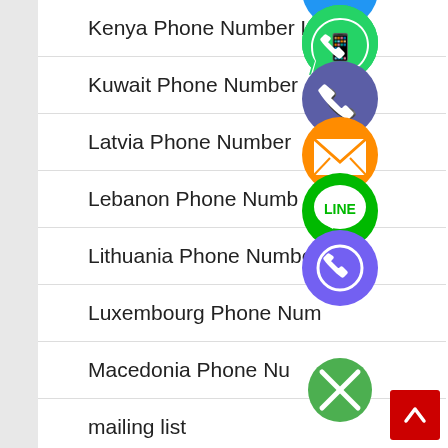Kenya Phone Number List
Kuwait Phone Number
Latvia Phone Number
Lebanon Phone Number
Lithuania Phone Number
Luxembourg Phone Number
Macedonia Phone Number
mailing list
Malaysia Phone Number
[Figure (illustration): Stack of social media / messaging app icons overlaid on the list: WhatsApp (green), Phone/Viber blue circle, Email orange envelope, LINE green chat bubble, Viber purple, green X close button, and partial blue circle at top]